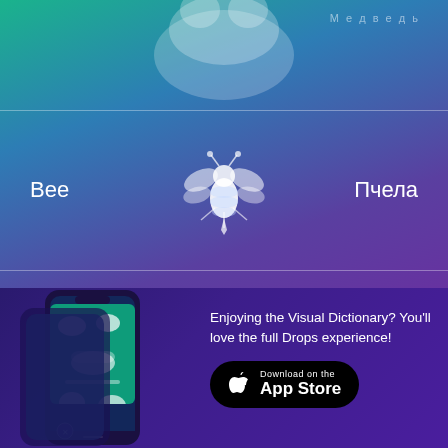[Figure (illustration): Partial bear icon at top center, cut off]
Пчела
[Figure (illustration): White bee icon in center]
Bee
Бабочка
[Figure (illustration): White butterfly icon in center]
Butterfly
[Figure (screenshot): Phone mockup showing Drops app]
Enjoying the Visual Dictionary? You'll love the full Drops experience!
Download on the App Store